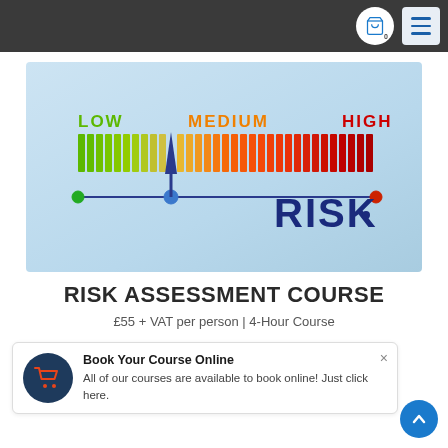[Figure (infographic): Risk assessment meter graphic showing a horizontal bar scale from LOW (green, left) to MEDIUM (orange, center) to HIGH (red, right), with a pointer/needle positioned toward the low-medium boundary. A horizontal line with green dot on left and red dot on right runs below the bar. The word RISK appears in large dark blue bold text on the right side.]
RISK ASSESSMENT COURSE
£55 + VAT per person | 4-Hour Course
Book Your Course Online
All of our courses are available to book online! Just click here.